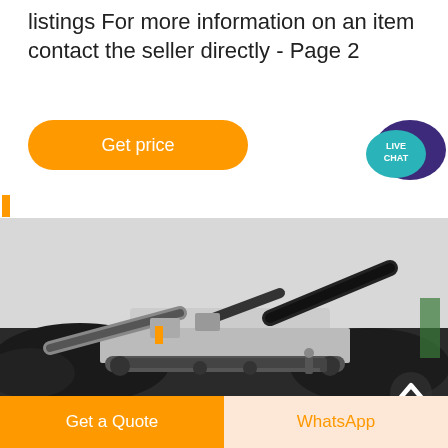listings For more information on an item contact the seller directly - Page 2
[Figure (other): Orange 'Get price' button]
[Figure (other): Live Chat speech bubble icon in teal and purple]
[Figure (photo): Mobile crushing machine/screener on a dark gravel site with workers nearby]
[Figure (other): 'Get a Quote' orange button and 'WhatsApp' light orange button at the bottom]